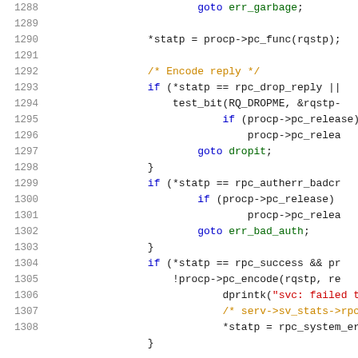Source code listing, lines 1288-1308, C kernel/RPC code
1288: goto err_garbage;
1289: (blank)
1290: *statp = procp->pc_func(rqstp);
1291: (blank)
1292: /* Encode reply */
1293: if (*statp == rpc_drop_reply ||
1294:     test_bit(RQ_DROPME, &rqstp-
1295:         if (procp->pc_release)
1296:             procp->pc_relea
1297:         goto dropit;
1298: }
1299: if (*statp == rpc_autherr_badcr
1300:     if (procp->pc_release)
1301:         procp->pc_relea
1302:     goto err_bad_auth;
1303: }
1304: if (*statp == rpc_success && pr
1305:     !procp->pc_encode(rqstp, re
1306:         dprintk("svc: failed to
1307:         /* serv->sv_stats->rpcs
1308:         *statp = rpc_system_err
1309: }